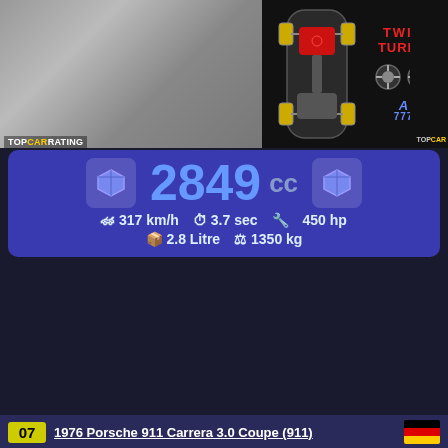[Figure (photo): Partial top car photo (silver/grey car) with TOPCARRATING watermark]
[Figure (schematic): Car drivetrain diagram top view with TWIN TURBO badge and A/777 badge]
2849 cc
317 km/h   3.7 sec   450 hp   2.8 Litre   1350 kg
07  1976 Porsche 911 Carrera 3.0 Coupe (911)
[Figure (photo): 1976 Porsche 911 Carrera 3.0 Coupe red car with TOPCARRATING.COM watermark]
[Figure (schematic): Car drivetrain diagram rear-engine layout with B6 badge, ATMO badge and A/777 badge]
2994 cc
230 km/h   6.5 sec   200 hp   3 Litre   1120 kg